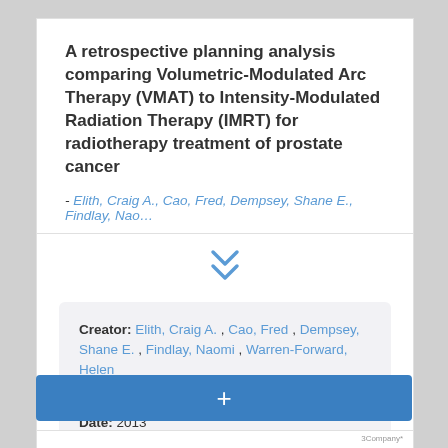A retrospective planning analysis comparing Volumetric-Modulated Arc Therapy (VMAT) to Intensity-Modulated Radiation Therapy (IMRT) for radiotherapy treatment of prostate cancer
- Elith, Craig A., Cao, Fred, Dempsey, Shane E., Findlay, Nao...
[Figure (other): Chevron double-down arrow icon in blue, indicating expandable content]
Creator: Elith, Craig A. , Cao, Fred , Dempsey, Shane E. , Findlay, Naomi , Warren-Forward, Helen
Resource Type: journal article
Date: 2013